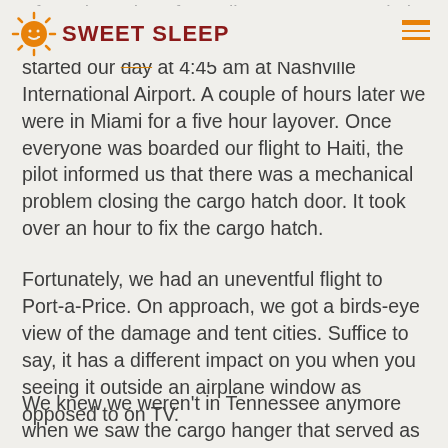Sweet Sleep
After a long day of traveling, our team made it to the orphanage in Port-a-Prince Haiti. We started our day at 4:45 am at Nashville International Airport. A couple of hours later we were in Miami for a five hour layover. Once everyone was boarded our flight to Haiti, the pilot informed us that there was a mechanical problem closing the cargo hatch door. It took over an hour to fix the cargo hatch.
Fortunately, we had an uneventful flight to Port-a-Price. On approach, we got a birds-eye view of the damage and tent cities. Suffice to say, it has a different impact on you when you seeing it outside an airplane window as opposed to on TV.
We knew we weren't in Tennessee anymore when we saw the cargo hanger that served as immigration, customs, and baggage claim. (Don't mind the date stamp, I